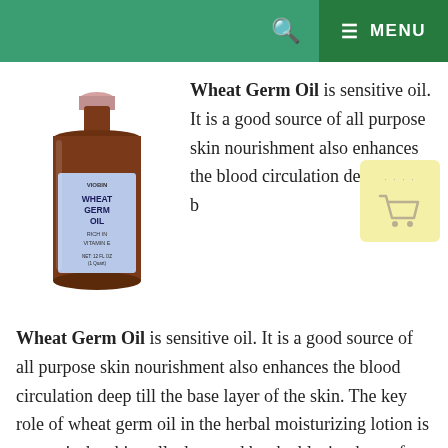MENU
[Figure (photo): Bottle of Wheat Germ Oil product with blue label showing WHEAT GERM OIL and RICH IN VITAMIN E text]
Wheat Germ Oil is sensitive oil. It is a good source of all purpose skin nourishment also enhances the blood circulation deep till the base layer of the skin. The key role of wheat germ oil in the herbal moisturizing lotion is to repair the skin cells damaged by the blazing heat of aging agent sun. This oil is extracted from wheat germ, scientifically known as Triticum Vulgare.